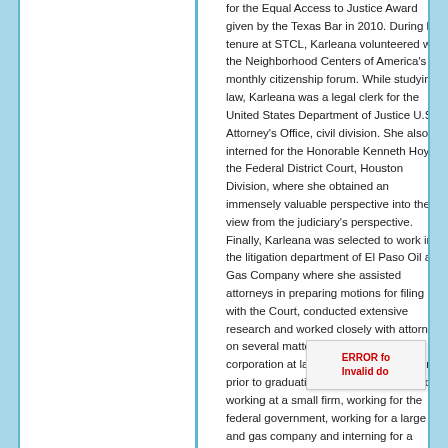for the Equal Access to Justice Award given by the Texas Bar in 2010. During her tenure at STCL, Karleana volunteered with the Neighborhood Centers of America's monthly citizenship forum. While studying law, Karleana was a legal clerk for the United States Department of Justice U.S. Attorney's Office, civil division. She also interned for the Honorable Kenneth Hoyt in the Federal District Court, Houston Division, where she obtained an immensely valuable perspective into the view from the judiciary's perspective. Finally, Karleana was selected to work in the litigation department of El Paso Oil and Gas Company where she assisted attorneys in preparing motions for filing with the Court, conducted extensive research and worked closely with attorneys on several matters that affected the corporation at large. Karleana's experience prior to graduating law school ranges from working at a small firm, working for the federal government, working for a large oil and gas company and interning for a federal judge.

In 2010, Karleana opened the doors to her own f where she successfully represented clients in enforcements, divorces, criminal matters, and